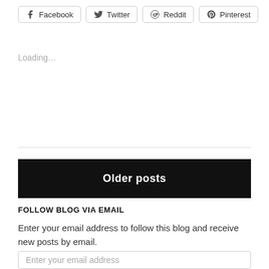[Figure (other): Social share buttons: Facebook, Twitter, Reddit, Pinterest]
Loading...
Older posts
FOLLOW BLOG VIA EMAIL
Enter your email address to follow this blog and receive new posts by email.
Enter your email address